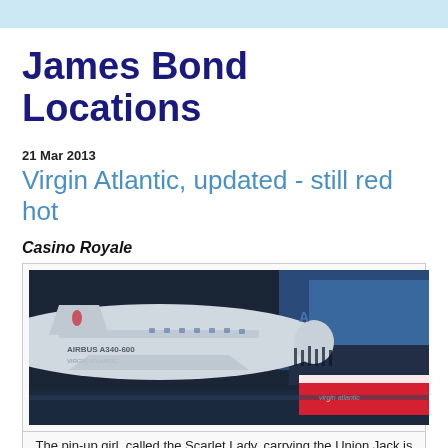James Bond Locations
21 Mar 2013
Virgin Atlantic, updated - still red hot
Casino Royale
[Figure (photo): An Airbus A340-600 aircraft inside a hangar with a Virgin Atlantic branded structure and crowd of people in the background.]
The pin-up girl, called the Scarlet Lady, carrying the Union Jack is seen on every Virgin aircraft.
Mi6-hq.com reported in late 2011 that Virgin Atlantic would